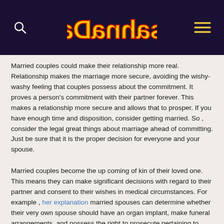sahnaDa (logo)
Married couples could make their relationship more real. Relationship makes the marriage more secure, avoiding the wishy-washy feeling that couples possess about the commitment. It proves a person's commitment with their partner forever. This makes a relationship more secure and allows that to prosper. If you have enough time and disposition, consider getting married. So , consider the legal great things about marriage ahead of committing. Just be sure that it is the proper decision for everyone and your spouse.
Married couples become the up coming of kin of their loved one. This means they can make significant decisions with regard to their partner and consent to their wishes in medical circumstances. For example , her explanation married spouses can determine whether their very own spouse should have an organ implant, make funeral arrangements, and possess the right to prosecute pertaining to wrongful fatality. They can also claim tax breaks pertaining to gifts and estates. It means that a the wife and hubby is much more safe against legal cases.
Marital relationship is one of the most widely-recognized primary